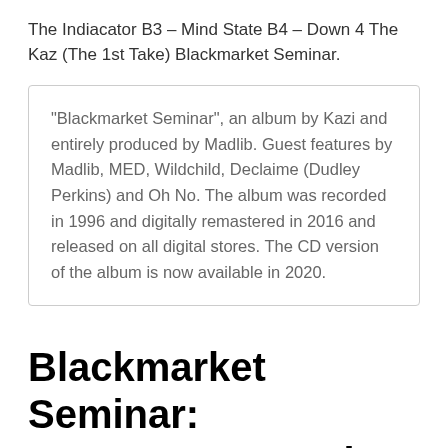The Indiacator B3 – Mind State B4 – Down 4 The Kaz (The 1st Take) Blackmarket Seminar.
"Blackmarket Seminar", an album by Kazi and entirely produced by Madlib. Guest features by Madlib, MED, Wildchild, Declaime (Dudley Perkins) and Oh No. The album was recorded in 1996 and digitally remastered in 2016 and released on all digital stores. The CD version of the album is now available in 2020.
Blackmarket Seminar: Amazon.se: Music